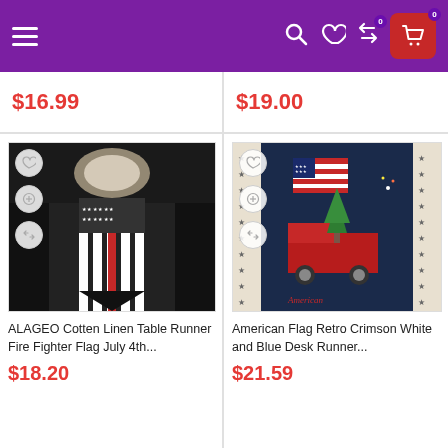[Figure (screenshot): E-commerce app navigation bar with purple background, hamburger menu, search, heart/wishlist, compare, and shopping cart icons]
$16.99
$19.00
[Figure (photo): ALAGEO Cotten Linen Table Runner with Fire Fighter Flag design, black white and red stripes]
[Figure (photo): American Flag Retro Crimson White and Blue Desk Runner with vintage truck design and star border]
ALAGEO Cotten Linen Table Runner Fire Fighter Flag July 4th...
American Flag Retro Crimson White and Blue Desk Runner...
$18.20
$21.59